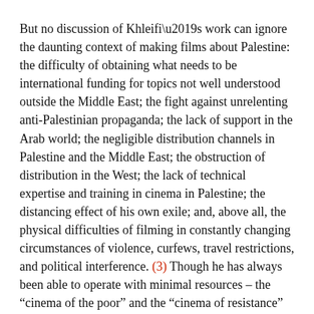But no discussion of Khleifi’s work can ignore the daunting context of making films about Palestine: the difficulty of obtaining what needs to be international funding for topics not well understood outside the Middle East; the fight against unrelenting anti-Palestinian propaganda; the lack of support in the Arab world; the negligible distribution channels in Palestine and the Middle East; the obstruction of distribution in the West; the lack of technical expertise and training in cinema in Palestine; the distancing effect of his own exile; and, above all, the physical difficulties of filming in constantly changing circumstances of violence, curfews, travel restrictions, and political interference. (3) Though he has always been able to operate with minimal resources – the “cinema of the poor” and the “cinema of resistance” have been driving influences in his stylistic development – making the films he has wanted has been a continual struggle. (4)
Born in Nazareth in 1950, Khleifi worked as a car mechanic for some years before leaving Palestine in 1970 with the intention of moving to Germany to train with Volkswagen. (5) On the way, he visited a cousin in Belgium who encouraged him to